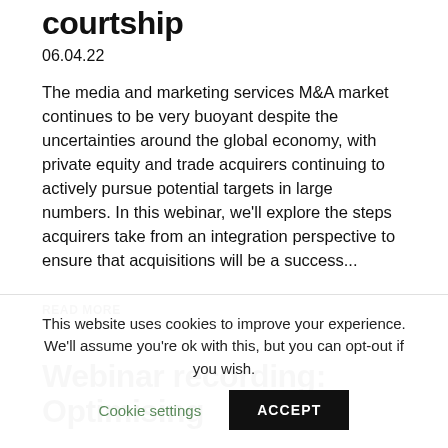courtship
06.04.22
The media and marketing services M&A market continues to be very buoyant despite the uncertainties around the global economy, with private equity and trade acquirers continuing to actively pursue potential targets in large numbers. In this webinar, we'll explore the steps acquirers take from an integration perspective to ensure that acquisitions will be a success...
READ MORE
Webinar recording: Optimising
This website uses cookies to improve your experience. We'll assume you're ok with this, but you can opt-out if you wish. Cookie settings ACCEPT